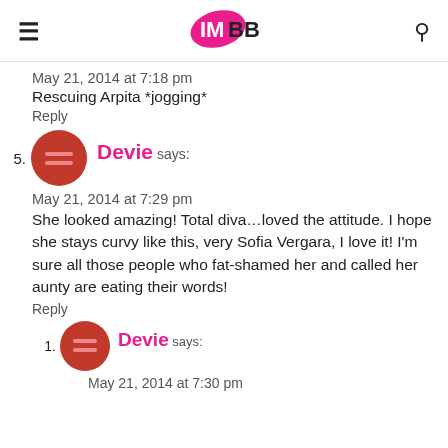IMBB (logo)
May 21, 2014 at 7:18 pm
Rescuing Arpita *jogging*
Reply
5. Devie says:
May 21, 2014 at 7:29 pm
She looked amazing! Total diva…loved the attitude. I hope she stays curvy like this, very Sofia Vergara, I love it! I'm sure all those people who fat-shamed her and called her aunty are eating their words!
Reply
1. Devie says:
May 21, 2014 at 7:30 pm